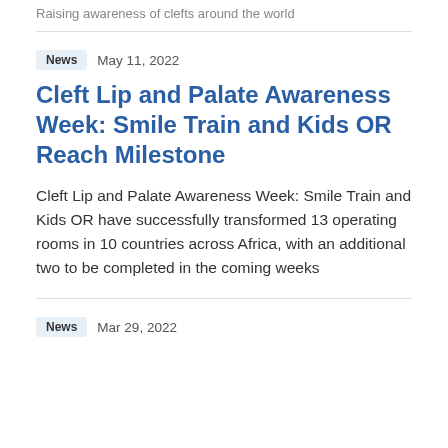Raising awareness of clefts around the world
News   May 11, 2022
Cleft Lip and Palate Awareness Week: Smile Train and Kids OR Reach Milestone
Cleft Lip and Palate Awareness Week: Smile Train and Kids OR have successfully transformed 13 operating rooms in 10 countries across Africa, with an additional two to be completed in the coming weeks
News   Mar 29, 2022